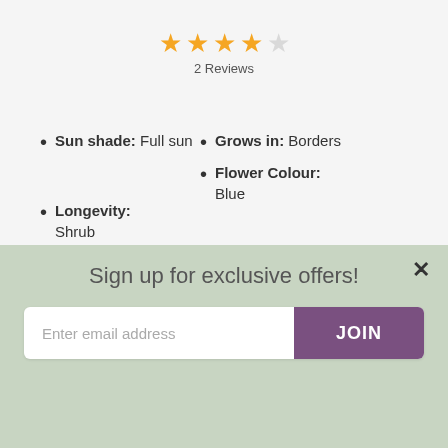[Figure (other): 4 out of 5 star rating with text '2 Reviews']
Sun shade: Full sun
Grows in: Borders
Flower Colour: Blue
Longevity: Shrub
[Figure (photo): Close-up photo of yellow flowers with green foliage]
Sign up for exclusive offers!
Enter email address
JOIN